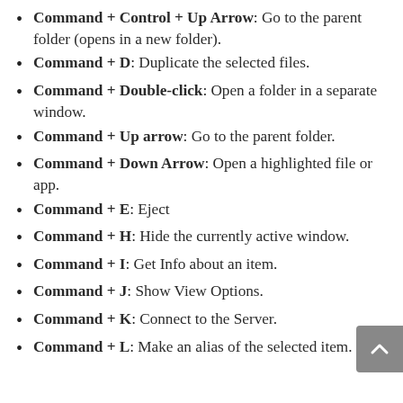Command + Control + Up Arrow: Go to the parent folder (opens in a new folder).
Command + D: Duplicate the selected files.
Command + Double-click: Open a folder in a separate window.
Command + Up arrow: Go to the parent folder.
Command + Down Arrow: Open a highlighted file or app.
Command + E: Eject
Command + H: Hide the currently active window.
Command + I: Get Info about an item.
Command + J: Show View Options.
Command + K: Connect to the Server.
Command + L: Make an alias of the selected item.